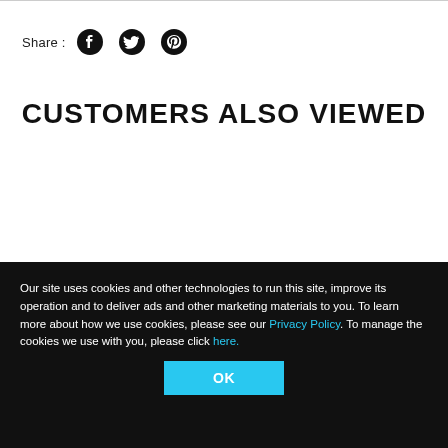Share :
CUSTOMERS ALSO VIEWED
Our site uses cookies and other technologies to run this site, improve its operation and to deliver ads and other marketing materials to you. To learn more about how we use cookies, please see our Privacy Policy. To manage the cookies we use with you, please click here.
OK